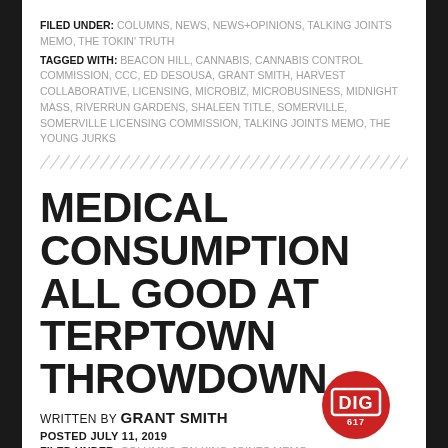FILED UNDER: COLUMNS, NEWS, NEWS+OPINIONS, TALKING JOINTS MEMO, THE TOKIN' TRUTH
TAGGED WITH: BEACON HILL, CANNABIS, CANNABIS CONTROL COMMISSION, CCC, ED DESOUSA, GRANT SMITH, HARVEST COLLABORATIVE, LICENSING, MICROBIZ, MICROBUSINESS, MIDNIGHT MASS, RIVERRUN GARDENS, SHALEEN TITLE, SOMERVILLE, SOMERVILLE LICENSING COMMISSION, TALKING JOINTS MEMO, THE YOUNG JURKS
MEDICAL CONSUMPTION ALL GOOD AT TERPTOWN THROWDOWN
WRITTEN BY GRANT SMITH
POSTED JULY 11, 2019
FILED UNDER: COLUMNS, TALKING JOINTS MEMO
[Figure (logo): DIG Boston logo — red circle with white DIG text and 617 below]